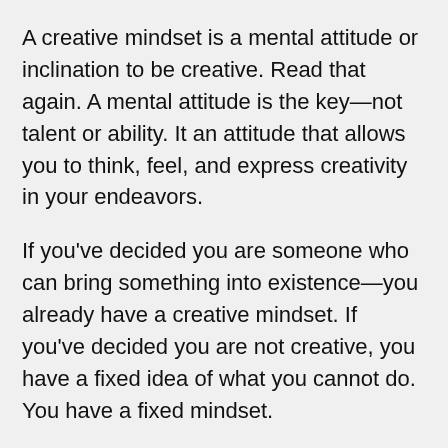A creative mindset is a mental attitude or inclination to be creative. Read that again. A mental attitude is the key—not talent or ability. It an attitude that allows you to think, feel, and express creativity in your endeavors.
If you've decided you are someone who can bring something into existence—you already have a creative mindset. If you've decided you are not creative, you have a fixed idea of what you cannot do. You have a fixed mindset.
Characteristics of a